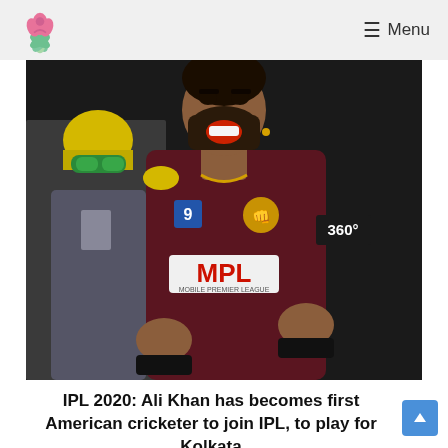Menu
[Figure (photo): Cricket player Ali Khan celebrating in a dark maroon/red jersey with MPL sponsor logo, mouth open in celebration, wearing black wristbands. Another player with yellow helmet visible in background.]
IPL 2020: Ali Khan has becomes first American cricketer to join IPL, to play for Kolkata